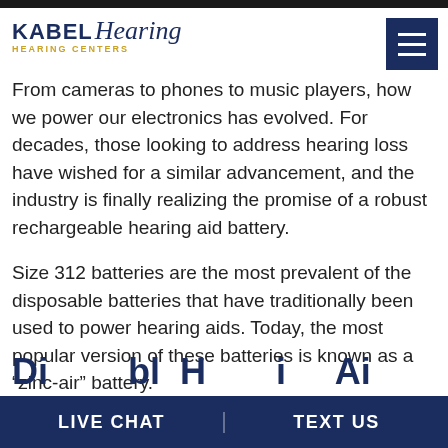Kabel Hearing — HEARING CENTERS
From cameras to phones to music players, how we power our electronics has evolved. For decades, those looking to address hearing loss have wished for a similar advancement, and the industry is finally realizing the promise of a robust rechargeable hearing aid battery.
Size 312 batteries are the most prevalent of the disposable batteries that have traditionally been used to power hearing aids. Today, the most popular version of these batteries is known as a “zinc-air” battery.
Disposable Hearing Aid...
LIVE CHAT | TEXT US